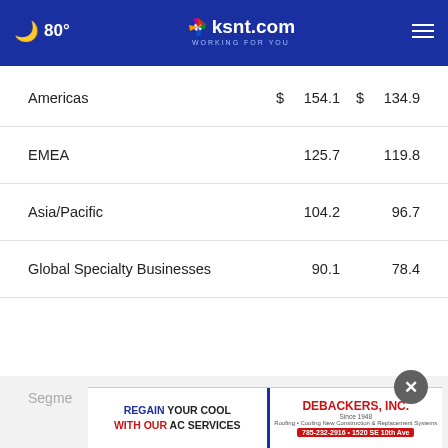80° ksnt.com WORKING FOR YOU
| Segment | $ |  | $ |  |
| --- | --- | --- | --- | --- |
| Americas | $ | 154.1 | $ | 134.9 |
| EMEA |  | 125.7 |  | 119.8 |
| Asia/Pacific |  | 104.2 |  | 96.7 |
| Global Specialty Businesses |  | 90.1 |  | 78.4 |
Segme...